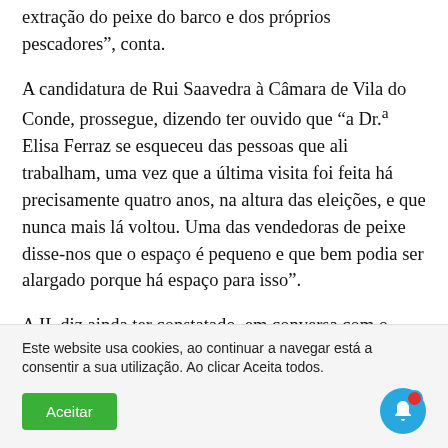extração do peixe do barco e dos próprios pescadores”, conta.
A candidatura de Rui Saavedra à Câmara de Vila do Conde, prossegue, dizendo ter ouvido que “a Dr.ª Elisa Ferraz se esqueceu das pessoas que ali trabalham, uma vez que a última visita foi feita há precisamente quatro anos, na altura das eleições, e que nunca mais lá voltou. Uma das vendedoras de peixe disse-nos que o espaço é pequeno e que bem podia ser alargado porque há espaço para isso”.
A IL diz ainda ter constatado, em conversa com o mestre de uma embarcação que não há pescadores para contratar, apesar de haver muitos nas listas dos centros de emprego
Este website usa cookies, ao continuar a navegar está a consentir a sua utilização. Ao clicar Aceita todos.